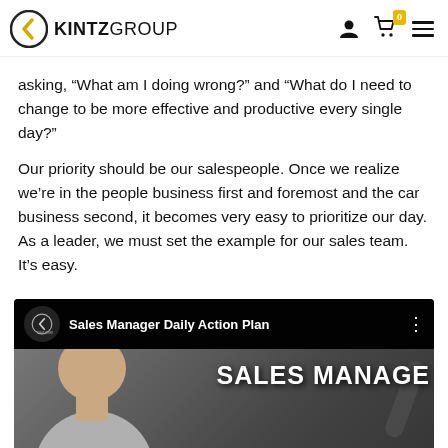KINTZGROUP
asking, “What am I doing wrong?” and “What do I need to change to be more effective and productive every single day?”
Our priority should be our salespeople. Once we realize we’re in the people business first and foremost and the car business second, it becomes very easy to prioritize our day. As a leader, we must set the example for our sales team. It’s easy.
[Figure (screenshot): Video thumbnail for 'Sales Manager Daily Action Plan' by KintzGroup, showing a smiling man with bold white text overlay reading 'SALES MANAGE' and 'DAILY']